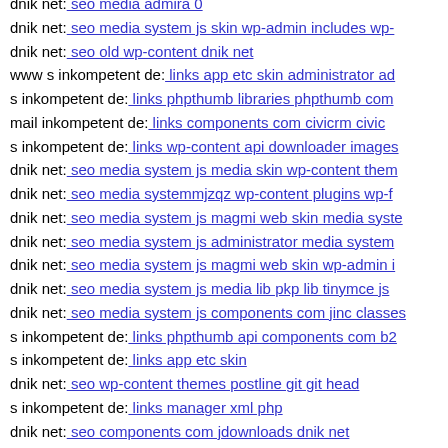dnik net: seo media admira 0
dnik net: seo media system js skin wp-admin includes wp-...
dnik net: seo old wp-content dnik net
www s inkompetent de: links app etc skin administrator ad...
s inkompetent de: links phpthumb libraries phpthumb com...
mail inkompetent de: links components com civicrm civic...
s inkompetent de: links wp-content api downloader images...
dnik net: seo media system js media skin wp-content them...
dnik net: seo media systemmjzqz wp-content plugins wp-f...
dnik net: seo media system js magmi web skin media syste...
dnik net: seo media system js administrator media system ...
dnik net: seo media system js magmi web skin wp-admin i...
dnik net: seo media system js media lib pkp lib tinymce js...
dnik net: seo media system js components com jinc classes...
s inkompetent de: links phpthumb api components com b2...
s inkompetent de: links app etc skin
dnik net: seo wp-content themes postline git git head
s inkompetent de: links manager xml php
dnik net: seo components com jdownloads dnik net
www s inkompetent de: links manager skin wp-content the...
s inkompetent de: links admin components com jnews incl...